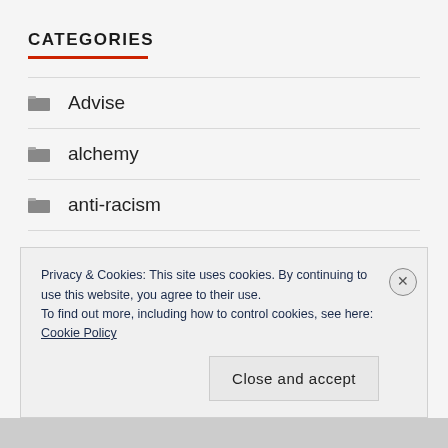CATEGORIES
Advise
alchemy
anti-racism
authenticity
Awareness
Privacy & Cookies: This site uses cookies. By continuing to use this website, you agree to their use.
To find out more, including how to control cookies, see here: Cookie Policy
Close and accept